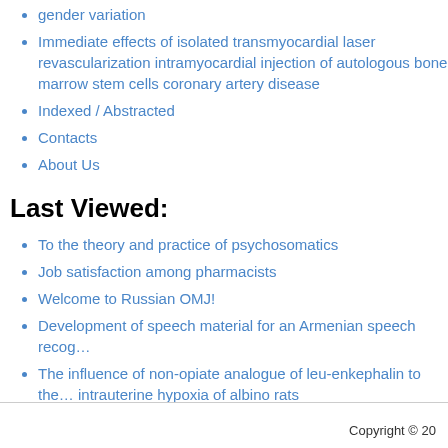gender variation
Immediate effects of isolated transmyocardial laser revascularization intramyocardial injection of autologous bone marrow stem cells coronary artery disease
Indexed / Abstracted
Contacts
About Us
Last Viewed:
To the theory and practice of psychosomatics
Job satisfaction among pharmacists
Welcome to Russian OMJ!
Development of speech material for an Armenian speech recog…
The influence of non-opiate analogue of leu-enkephalin to the … intrauterine hypoxia of albino rats
Copyright © 20…